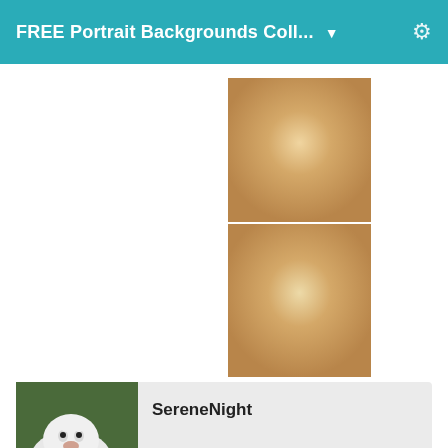FREE Portrait Backgrounds Coll... ▼
[Figure (photo): Two vertically stacked portrait background images with warm golden/tan gradient, center-lit appearance]
Post edited by Novica on June 2016
[Figure (photo): User avatar showing a person with a white dog (Samoyed), person wearing a cap]
SereneNight